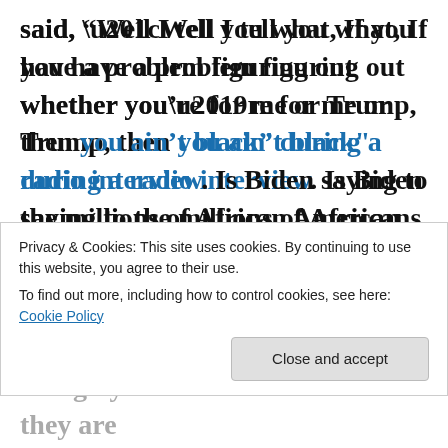said, “Well I tell you what, If you have a problem figuring out whether you’re for me or Trump, then you ain’t black” during a radio interview. Is Biden saying to the millions of African Americans who don’t support the rioting
Privacy & Cookies: This site uses cookies. By continuing to use this website, you agree to their use. To find out more, including how to control cookies, see here: Cookie Policy
living by the rule of law that they are